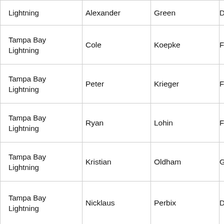| Team | First | Last |  |
| --- | --- | --- | --- |
| Tampa Bay Lightning | Alexander | Green | D |
| Tampa Bay Lightning | Cole | Koepke | F |
| Tampa Bay Lightning | Peter | Krieger | F |
| Tampa Bay Lightning | Ryan | Lohin | F |
| Tampa Bay Lightning | Kristian | Oldham | G |
| Tampa Bay Lightning | Nicklaus | Perbix | D |